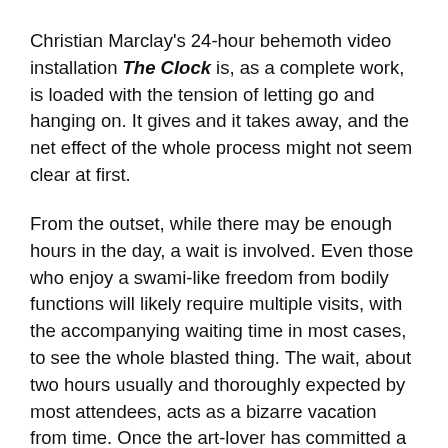Christian Marclay's 24-hour behemoth video installation The Clock is, as a complete work, is loaded with the tension of letting go and hanging on. It gives and it takes away, and the net effect of the whole process might not seem clear at first.
From the outset, while there may be enough hours in the day, a wait is involved. Even those who enjoy a swami-like freedom from bodily functions will likely require multiple visits, with the accompanying waiting time in most cases, to see the whole blasted thing. The wait, about two hours usually and thoroughly expected by most attendees, acts as a bizarre vacation from time. Once the art-lover has committed a chunk of time to The Clock and its related wait, this time has a deliciousness to it that a holiday Monday can't quite match. One has let go of the idea that there isn't enough time. Books will be read, email inboxes will be cleaned out, old friends caught up